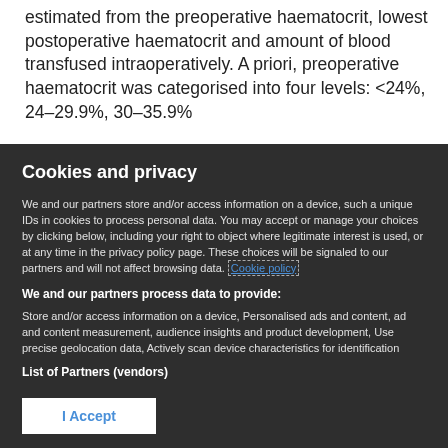estimated from the preoperative haematocrit, lowest postoperative haematocrit and amount of blood transfused intraoperatively. A priori, preoperative haematocrit was categorised into four levels: <24%, 24–29.9%, 30–35.9%
Cookies and privacy
We and our partners store and/or access information on a device, such a unique IDs in cookies to process personal data. You may accept or manage your choices by clicking below, including your right to object where legitimate interest is used, or at any time in the privacy policy page. These choices will be signaled to our partners and will not affect browsing data. Cookie policy
We and our partners process data to provide:
Store and/or access information on a device, Personalised ads and content, ad and content measurement, audience insights and product development, Use precise geolocation data, Actively scan device characteristics for identification
List of Partners (vendors)